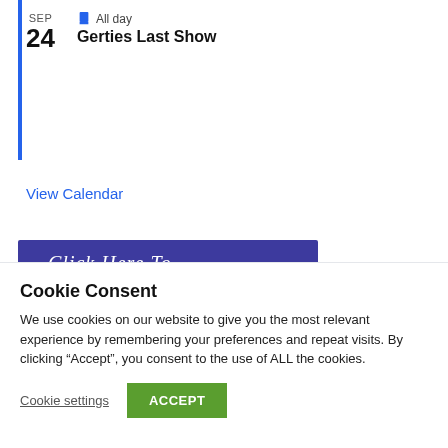SEP 24 All day Gerties Last Show
View Calendar
[Figure (illustration): Banner image with purple and orange wave background and cursive text 'Click Here To']
Cookie Consent
We use cookies on our website to give you the most relevant experience by remembering your preferences and repeat visits. By clicking “Accept”, you consent to the use of ALL the cookies.
Cookie settings  ACCEPT